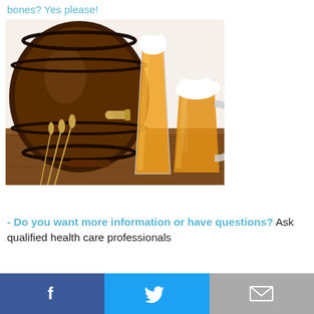bones? Yes please!
[Figure (photo): Wooden beer barrel with a brass tap, a tall glass of beer with foam, a glass beer mug with foam, and wheat stalks arranged on a wooden surface.]
- Do you want more information or have questions? Ask qualified health care professionals
Facebook share | Twitter share | Email share